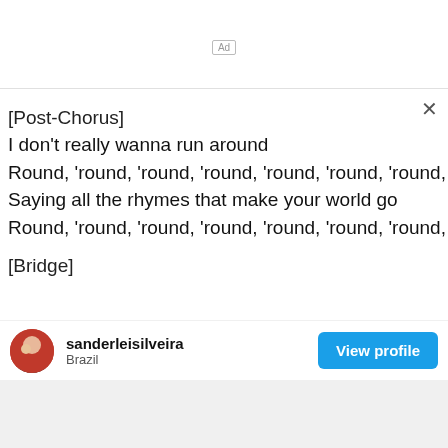[Figure (screenshot): Ad placeholder label in top area]
[Post-Chorus]
I don't really wanna run around
Round, 'round, 'round, 'round, 'round, 'round, 'round, 'round
Saying all the rhymes that make your world go
Round, 'round, 'round, 'round, 'round, 'round, 'round, 'round
[Bridge]
sanderleisilveira
Brazil
View profile